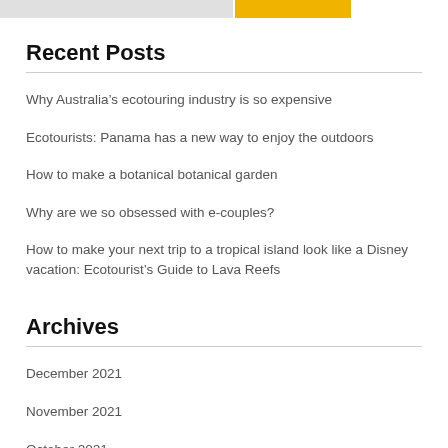[Figure (other): Top bar with gray and yellow color blocks]
Recent Posts
Why Australia’s ecotouring industry is so expensive
Ecotourists: Panama has a new way to enjoy the outdoors
How to make a botanical botanical garden
Why are we so obsessed with e-couples?
How to make your next trip to a tropical island look like a Disney vacation: Ecotourist’s Guide to Lava Reefs
Archives
December 2021
November 2021
October 2021